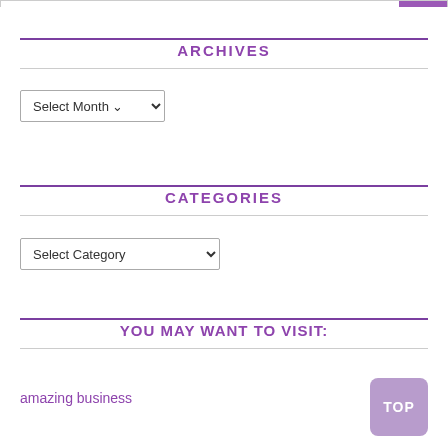ARCHIVES
[Figure (screenshot): Select Month dropdown control]
CATEGORIES
[Figure (screenshot): Select Category dropdown control]
YOU MAY WANT TO VISIT:
amazing business